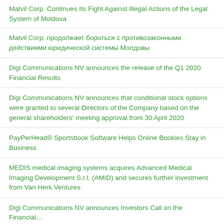Matvil Corp. Continues Its Fight Against Illegal Actions of the Legal System of Moldova
Matvil Corp. продолжает бороться с противозаконными действиями юридической системы Молдовы
Digi Communications NV announces the release of the Q1 2020 Financial Results
Digi Communications NV announces that conditional stock options were granted to several Directors of the Company based on the general shareholders' meeting approval from 30 April 2020
PayPerHead® Sportsbook Software Helps Online Bookies Stay in Business
MEDIS medical imaging systems acquires Advanced Medical Imaging Development S.r.l. (AMID) and secures further investment from Van Herk Ventures
Digi Communications NV announces Investors Call on the Financial…